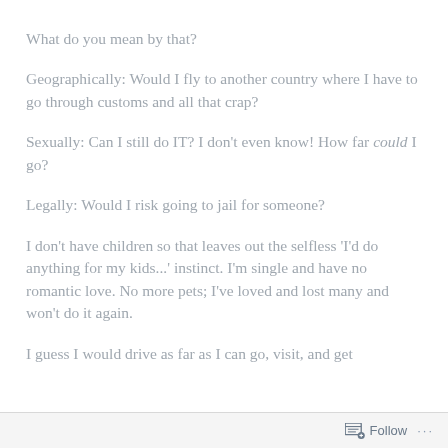What do you mean by that?
Geographically: Would I fly to another country where I have to go through customs and all that crap?
Sexually: Can I still do IT? I don't even know! How far could I go?
Legally: Would I risk going to jail for someone?
I don't have children so that leaves out the selfless 'I'd do anything for my kids...' instinct. I'm single and have no romantic love. No more pets; I've loved and lost many and won't do it again.
I guess I would drive as far as I can go, visit, and get